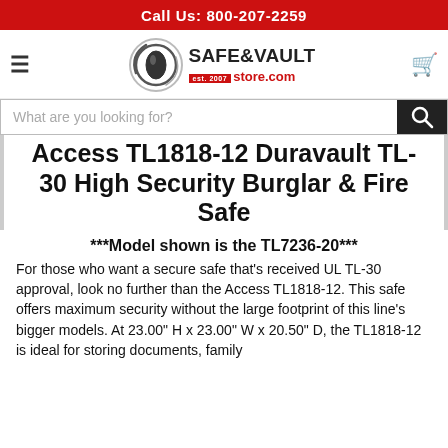Call Us: 800-207-2259
[Figure (logo): Safe & Vault Store.com logo with circular eye/safe dial icon, red est. 2007 banner, and red store.com text]
What are you looking for?
Access TL1818-12 Duravault TL-30 High Security Burglar & Fire Safe
***Model shown is the TL7236-20***
For those who want a secure safe that's received UL TL-30 approval, look no further than the Access TL1818-12. This safe offers maximum security without the large footprint of this line's bigger models. At 23.00" H x 23.00" W x 20.50" D, the TL1818-12 is ideal for storing documents, family